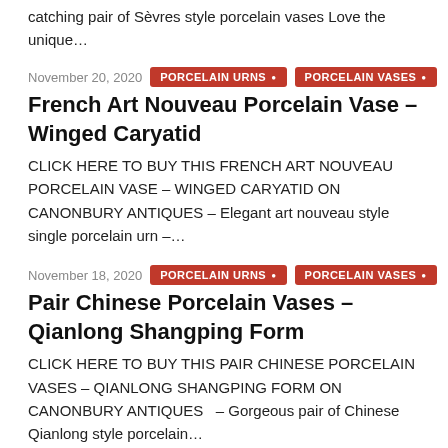catching pair of Sevres style porcelain vases Love the unique…
November 20, 2020   PORCELAIN URNS ● PORCELAIN VASES ●
French Art Nouveau Porcelain Vase – Winged Caryatid
CLICK HERE TO BUY THIS FRENCH ART NOUVEAU PORCELAIN VASE – WINGED CARYATID ON CANONBURY ANTIQUES – Elegant art nouveau style single porcelain urn –…
November 18, 2020   PORCELAIN URNS ● PORCELAIN VASES ●
Pair Chinese Porcelain Vases – Qianlong Shangping Form
CLICK HERE TO BUY THIS PAIR CHINESE PORCELAIN VASES – QIANLONG SHANGPING FORM ON CANONBURY ANTIQUES  – Gorgeous pair of Chinese Qianlong style porcelain…